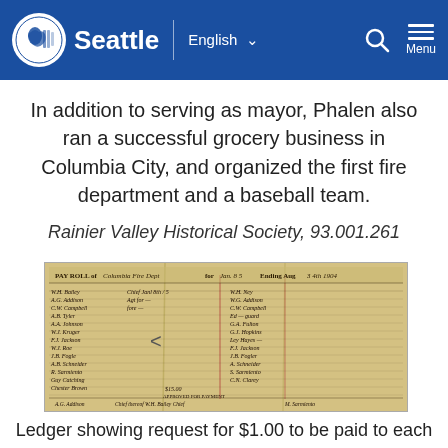Seattle | English ∨ [search] Menu
In addition to serving as mayor, Phalen also ran a successful grocery business in Columbia City, and organized the first fire department and a baseball team.
Rainier Valley Historical Society, 93.001.261
[Figure (photo): Photograph of a historical pay roll ledger document with handwritten entries, dated ending Aug 1904. Header reads 'PAY ROLL of [Columbia Fire Dept?] for [amount] Ending Aug [date] 1904'. Contains columns of handwritten names and figures.]
Ledger showing request for $1.00 to be paid to each member of the volunteer fire department for